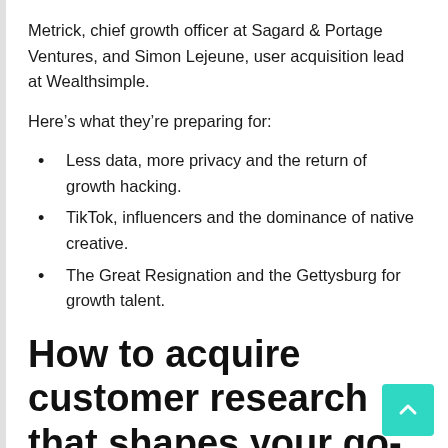Metrick, chief growth officer at Sagard & Portage Ventures, and Simon Lejeune, user acquisition lead at Wealthsimple.
Here’s what they’re preparing for:
Less data, more privacy and the return of growth hacking.
TikTok, influencers and the dominance of native creative.
The Great Resignation and the Gettysburg for growth talent.
How to acquire customer research that shapes your go-